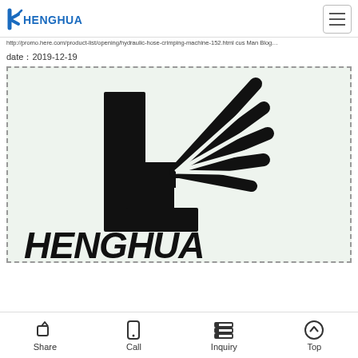Henghua logo and navigation header
http://promo.here.com/product-list/opening/hydraulic-hose-crimping-machine-152.html cus Man Blog...
dateï¼2019-12-19
[Figure (logo): Large Henghua logo mark (stylized H with wing/feather design) on light green background with dashed border, HENGHUA text below in bold italics]
Share  Call  Inquiry  Top